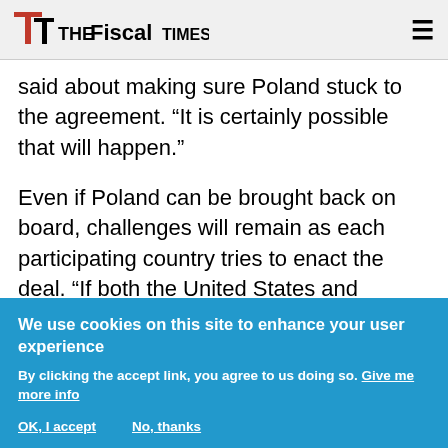The Fiscal Times
said about making sure Poland stuck to the agreement. “It is certainly possible that will happen.”
Even if Poland can be brought back on board, challenges will remain as each participating country tries to enact the deal. “If both the United States and Europe cannot manage to comply with the agreement, the global deal is likely to unravel, Rappeport says. “That would mean a continuation of a hodgepodge of tax rates and related tariff fights around the world.”
We use cookies on this site to enhance your user experience
By clicking the accept link, you agree to us doing so. Give me more info
OK, I accept    No, thanks